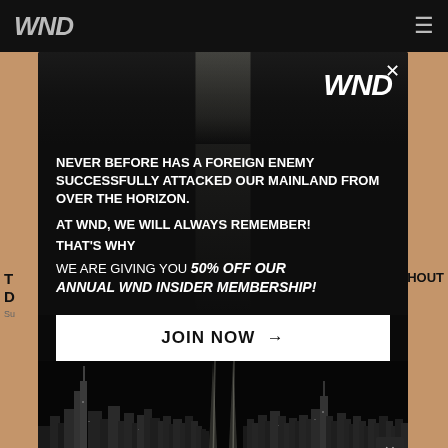WND
[Figure (screenshot): WND website popup modal overlay on top of article page. Modal has dark background with WND logo, text about 9/11 memorial, 50% off membership offer, JOIN NOW button, and NYC skyline with twin tower beams of light.]
NEVER BEFORE HAS A FOREIGN ENEMY SUCCESSFULLY ATTACKED OUR MAINLAND FROM OVER THE HORIZON.
AT WND, WE WILL ALWAYS REMEMBER!
THAT'S WHY
WE ARE GIVING YOU 50% OFF OUR ANNUAL WND INSIDER MEMBERSHIP!
JOIN NOW →